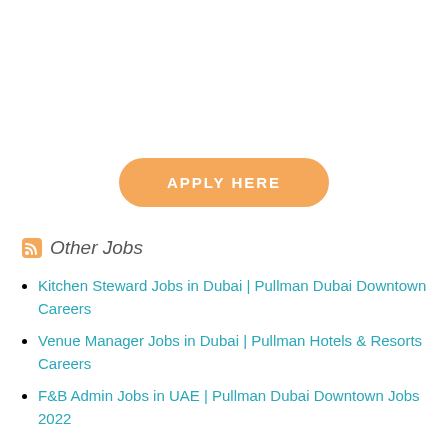[Figure (other): Orange rounded button with white text reading APPLY HERE]
Other Jobs
Kitchen Steward Jobs in Dubai | Pullman Dubai Downtown Careers
Venue Manager Jobs in Dubai | Pullman Hotels & Resorts Careers
F&B Admin Jobs in UAE | Pullman Dubai Downtown Jobs 2022